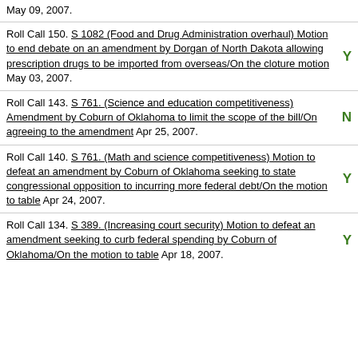May 09, 2007.
Roll Call 150. S 1082 (Food and Drug Administration overhaul) Motion to end debate on an amendment by Dorgan of North Dakota allowing prescription drugs to be imported from overseas/On the cloture motion May 03, 2007.
Roll Call 143. S 761. (Science and education competitiveness) Amendment by Coburn of Oklahoma to limit the scope of the bill/On agreeing to the amendment Apr 25, 2007.
Roll Call 140. S 761. (Math and science competitiveness) Motion to defeat an amendment by Coburn of Oklahoma seeking to state congressional opposition to incurring more federal debt/On the motion to table Apr 24, 2007.
Roll Call 134. S 389. (Increasing court security) Motion to defeat an amendment seeking to curb federal spending by Coburn of Oklahoma/On the motion to table Apr 18, 2007.